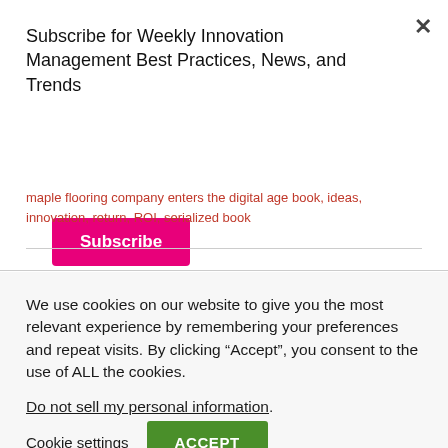Subscribe for Weekly Innovation Management Best Practices, News, and Trends
Subscribe
maple flooring company enters the digital age book, ideas, innovation, return, ROI, serialized book
We use cookies on our website to give you the most relevant experience by remembering your preferences and repeat visits. By clicking “Accept”, you consent to the use of ALL the cookies.
Do not sell my personal information.
Cookie settings
ACCEPT